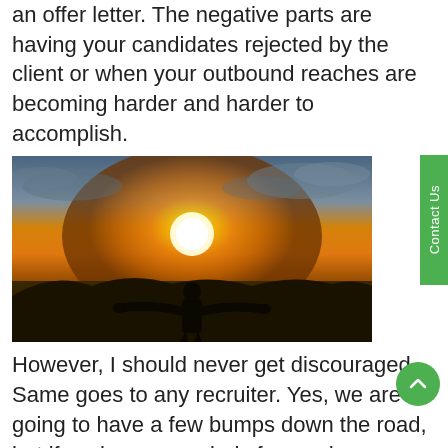an offer letter. The negative parts are having your candidates rejected by the client or when your outbound reaches are becoming harder and harder to accomplish.
[Figure (photo): Silhouette of a person with arms outstretched standing against a dramatic sunset sky with orange and golden light.]
However, I should never get discouraged. Same goes to any recruiter. Yes, we are going to have a few bumps down the road, but if we keep our minds focused